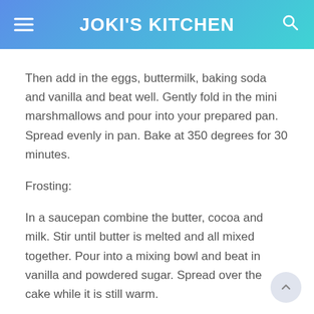JOKI'S KITCHEN
Then add in the eggs, buttermilk, baking soda and vanilla and beat well. Gently fold in the mini marshmallows and pour into your prepared pan. Spread evenly in pan. Bake at 350 degrees for 30 minutes.
Frosting:
In a saucepan combine the butter, cocoa and milk. Stir until butter is melted and all mixed together. Pour into a mixing bowl and beat in vanilla and powdered sugar. Spread over the cake while it is still warm.